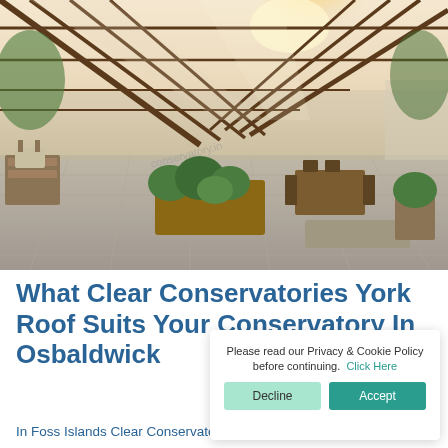[Figure (photo): Interior of a large glass conservatory/greenhouse with steel frame roof, sunlight streaming through, plants and outdoor furniture on a tiled patio]
What Clear Conservatories York Roof Suits Your Conservatory In Osbaldwick
In Foss Islands Clear Conservatories York solid roofs create the
Please read our Privacy & Cookie Policy before continuing. Click Here
Decline
Accept